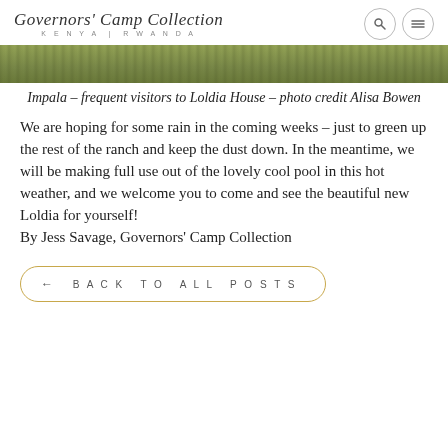Governors' Camp Collection KENYA | RWANDA
[Figure (photo): Partial view of a grassy landscape, appears to be a cropped photo strip showing green grass and earth tones]
Impala – frequent visitors to Loldia House – photo credit Alisa Bowen
We are hoping for some rain in the coming weeks – just to green up the rest of the ranch and keep the dust down. In the meantime, we will be making full use out of the lovely cool pool in this hot weather, and we welcome you to come and see the beautiful new Loldia for yourself!
By Jess Savage, Governors' Camp Collection
← BACK TO ALL POSTS